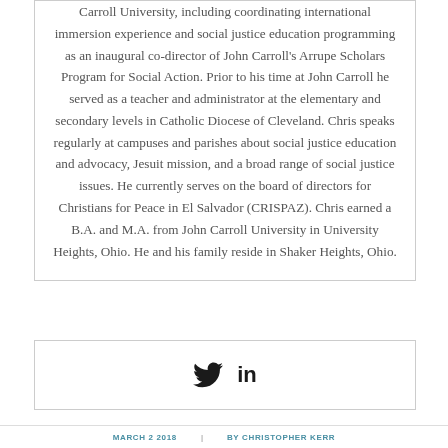Carroll University, including coordinating international immersion experience and social justice education programming as an inaugural co-director of John Carroll's Arrupe Scholars Program for Social Action. Prior to his time at John Carroll he served as a teacher and administrator at the elementary and secondary levels in Catholic Diocese of Cleveland. Chris speaks regularly at campuses and parishes about social justice education and advocacy, Jesuit mission, and a broad range of social justice issues. He currently serves on the board of directors for Christians for Peace in El Salvador (CRISPAZ). Chris earned a B.A. and M.A. from John Carroll University in University Heights, Ohio. He and his family reside in Shaker Heights, Ohio.
[Figure (other): Social media icons: Twitter bird icon and LinkedIn 'in' icon]
MARCH 2 2018   BY CHRISTOPHER KERR